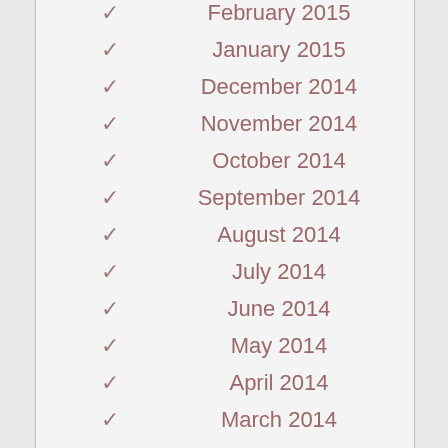✓ February 2015
✓ January 2015
✓ December 2014
✓ November 2014
✓ October 2014
✓ September 2014
✓ August 2014
✓ July 2014
✓ June 2014
✓ May 2014
✓ April 2014
✓ March 2014
✓ February 2014
✓ January 2014
✓ December 2013